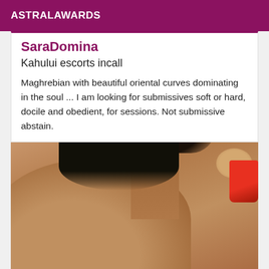ASTRALAWARDS
SaraDomina
Kahului escorts incall
Maghrebian with beautiful oriental curves dominating in the soul ... I am looking for submissives soft or hard, docile and obedient, for sessions. Not submissive abstain.
[Figure (photo): Close-up photo of a dark-skinned bearded man's neck and shoulder area, with a hand holding a red cup visible in the upper right corner.]